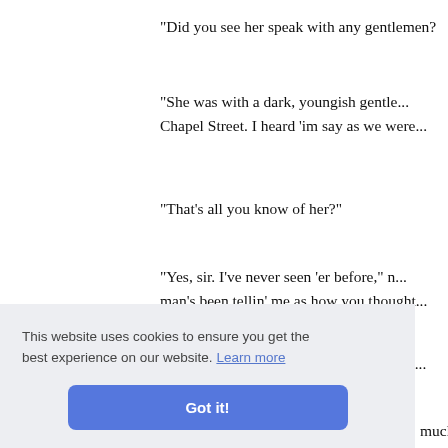"Did you see her speak with any gentlemen?"
"She was with a dark, youngish gentleman. Chapel Street. I heard 'im say as we were..."
"That's all you know of her?"
"Yes, sir. I've never seen 'er before," n... man's been tellin' me as how you thought..."
"Yes, but I was mistaken," I said. "I must..."
"That... much ali... puzzled... half-hour-... by entering..."
Another careful tour of the establishment...
This website uses cookies to ensure you get the best experience on our website. Learn more
Got it!